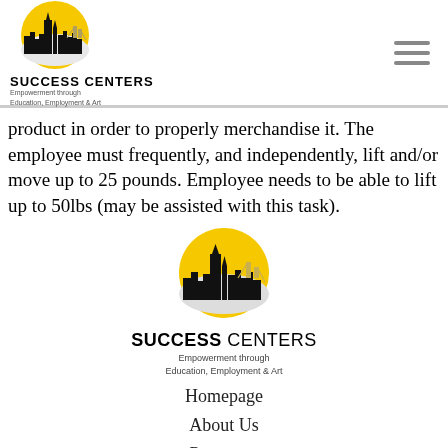[Figure (logo): Success Centers logo with San Francisco skyline silhouette on yellow circle, with text SUCCESS CENTERS and Empowerment through Education, Employment & Art]
product in order to properly merchandise it. The employee must frequently, and independently, lift and/or move up to 25 pounds. Employee needs to be able to lift up to 50lbs (may be assisted with this task).
[Figure (logo): Success Centers logo centered, large version with San Francisco skyline silhouette on yellow circle]
Homepage
About Us
Programs
Employment
Get Inspired